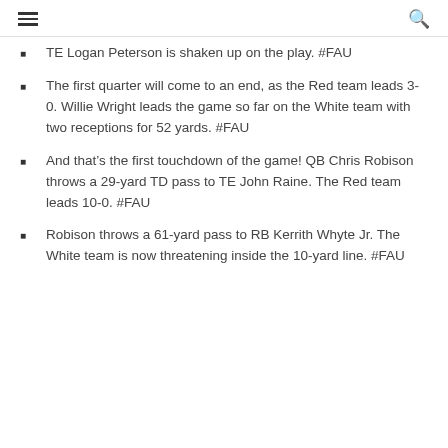menu search
TE Logan Peterson is shaken up on the play. #FAU
The first quarter will come to an end, as the Red team leads 3-0. Willie Wright leads the game so far on the White team with two receptions for 52 yards. #FAU
And that's the first touchdown of the game! QB Chris Robison throws a 29-yard TD pass to TE John Raine. The Red team leads 10-0. #FAU
Robison throws a 61-yard pass to RB Kerrith Whyte Jr. The White team is now threatening inside the 10-yard line. #FAU